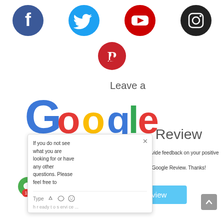[Figure (illustration): Social media icons row: Facebook (blue circle), Twitter (light blue circle), YouTube (red circle), Instagram (dark/black circle), Pinterest (red circle centered below)]
[Figure (logo): Leave a Google Review logo with Google wordmark in blue, red, yellow, blue, green, red colors and 'Leave a' text above and 'Review' text to right]
We'd ... ake a few minutes to provide feedback on your positive marketing Motion in Time by leaving us a Google Review. Thanks!
[Figure (screenshot): Chat popup overlay with close X button, text: 'If you do not see what you are looking for or have any other questions. Please feel free to', and a Type input bar with icons]
[Figure (other): Leave a Review button (light blue)]
[Figure (other): Green chat bubble icon with red badge showing 1, bottom left corner]
[Figure (other): Gray scroll-to-top arrow button, bottom right corner]